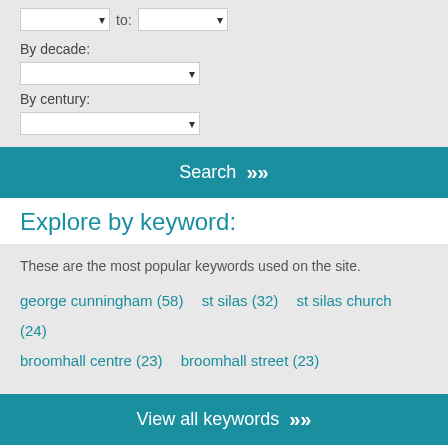to:
By decade:
By century:
Search »
Explore by keyword:
These are the most popular keywords used on the site.
george cunningham (58)
st silas (32)
st silas church (24)
broomhall centre (23)
broomhall street (23)
View all keywords »
Share this:
[Figure (illustration): Social media icons: Facebook, Pinterest, Twitter, LinkedIn]